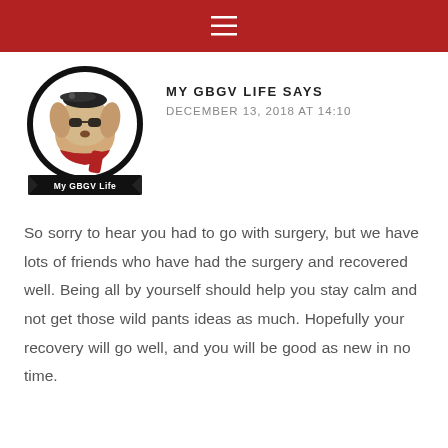≡ (navigation menu icon)
[Figure (logo): My GBGV Life blog logo: cartoon dog wearing sunglasses and a red scarf, inside a black circle, with 'My GBGV Life' text banner below]
MY GBGV LIFE SAYS
DECEMBER 13, 2018 AT 14:10
So sorry to hear you had to go with surgery, but we have lots of friends who have had the surgery and recovered well. Being all by yourself should help you stay calm and not get those wild pants ideas as much. Hopefully your recovery will go well, and you will be good as new in no time.